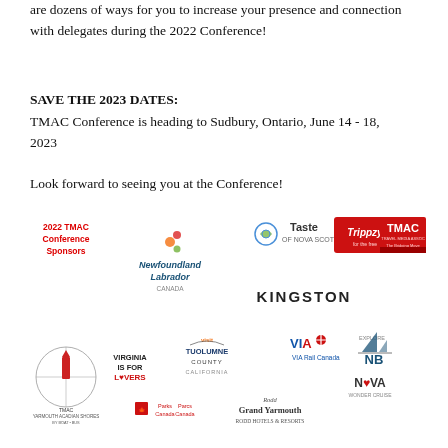are dozens of ways for you to increase your presence and connection with delegates during the 2022 Conference!
SAVE THE 2023 DATES:
TMAC Conference is heading to Sudbury, Ontario, June 14 - 18, 2023
Look forward to seeing you at the Conference!
[Figure (logo): 2022 TMAC Conference Sponsors logo collage including Newfoundland Labrador Canada, Taste of Nova Scotia, Trippzy, TMAC, Kingston, Virginia is for Lovers, Tuolumne County California, VIA Rail Canada, Explore NB, Nova, Yarmouth Acadian Shores, Parks Canada, Grand Yarmouth Rodd Hotels & Resorts, and TMAC circular logo]